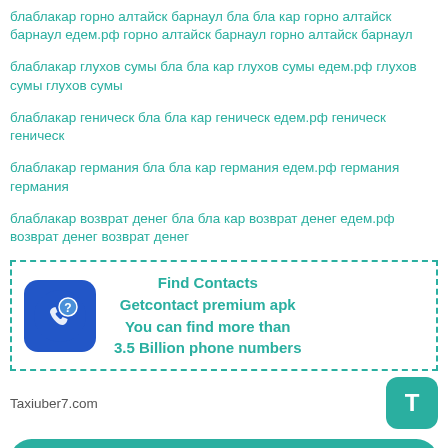блаблакар горно алтайск барнаул бла бла кар горно алтайск барнаул едем.рф горно алтайск барнаул горно алтайск барнаул
блаблакар глухов сумы бла бла кар глухов сумы едем.рф глухов сумы глухов сумы
блаблакар геническ бла бла кар геническ едем.рф геническ геническ
блаблакар германия бла бла кар германия едем.рф германия германия
блаблакар возврат денег бла бла кар возврат денег едем.рф возврат денег возврат денег
[Figure (infographic): Ad box with dashed teal border. Blue rounded square icon with phone/question mark symbol. Text: Find Contacts, Getcontact premium apk, You can find more than 3.5 Billion phone numbers]
Taxiuber7.com
[Figure (logo): Teal rounded square button with white letter T]
Get Taxiuber7.com on Google Play